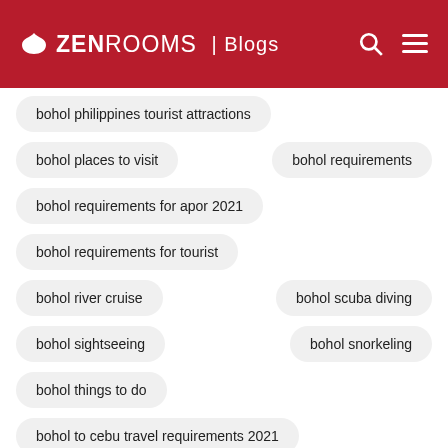ZEN ROOMS | Blogs
bohol philippines tourist attractions
bohol places to visit
bohol requirements
bohol requirements for apor 2021
bohol requirements for tourist
bohol river cruise
bohol scuba diving
bohol sightseeing
bohol snorkeling
bohol things to do
bohol to cebu travel requirements 2021
bohol to manila travel requirements 2021